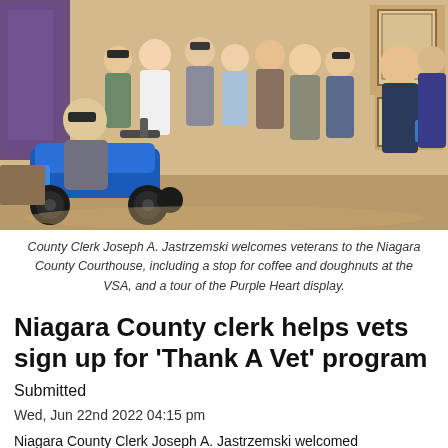[Figure (photo): Group photo of veterans and County Clerk Joseph A. Jastrzemski inside the Niagara County Courthouse. A veteran in a motorized scooter is on the left. A purple flag is visible in the background. About 10-12 people are standing or seated in a room with wood-paneled walls and framed documents.]
County Clerk Joseph A. Jastrzemski welcomes veterans to the Niagara County Courthouse, including a stop for coffee and doughnuts at the VSA, and a tour of the Purple Heart display.
Niagara County clerk helps vets sign up for 'Thank A Vet' program
Submitted
Wed, Jun 22nd 2022 04:15 pm
Niagara County Clerk Joseph A. Jastrzemski welcomed